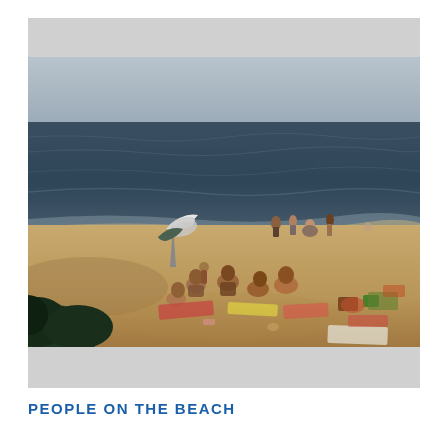[Figure (photo): A vintage photograph of people on a sandy beach. Several individuals are seated or lounging on the sand in the foreground, with beach towels and belongings scattered around. In the background, a small group of people stand in the shallow water near the shoreline. A white and dark colored beach umbrella or tent is visible on the left side near the water's edge. The water is a dark blue-grey, and dark green foliage is visible at the lower left corner.]
PEOPLE ON THE BEACH